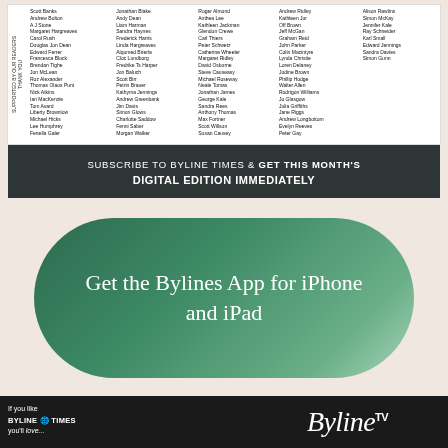[Figure (other): List of supporter/reader names in a multi-column grid with sidebar text 'SUPPORTED BY OUR READERS THANK YOU' on the left]
SUBSCRIBE TO BYLINE TIMES & GET THIS MONTH'S DIGITAL EDITION IMMEDIATELY
[Figure (illustration): Dark green pill-shaped button reading 'Get the Bylines App for iPhone and iPad' with gradient from dark green to light green]
[Figure (photo): Dark photo with text 'If you like BYLINE TIMES you'll love...' on left and 'Byline TV' logo on right]